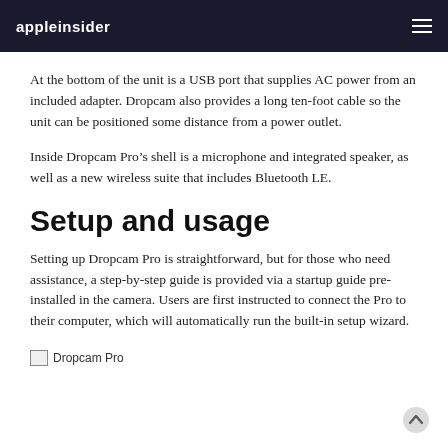appleinsider
At the bottom of the unit is a USB port that supplies AC power from an included adapter. Dropcam also provides a long ten-foot cable so the unit can be positioned some distance from a power outlet.
Inside Dropcam Pro’s shell is a microphone and integrated speaker, as well as a new wireless suite that includes Bluetooth LE.
Setup and usage
Setting up Dropcam Pro is straightforward, but for those who need assistance, a step-by-step guide is provided via a startup guide pre-installed in the camera. Users are first instructed to connect the Pro to their computer, which will automatically run the built-in setup wizard.
[Figure (photo): Broken image placeholder labeled 'Dropcam Pro']